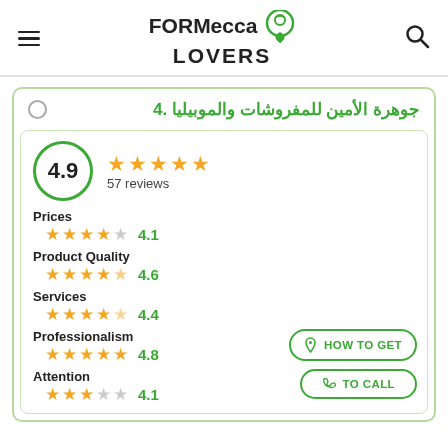FORMecca LOVERS
4. جوهرة الأمين للمفروشات والموبيليا
4.9 — 57 reviews
Prices ★★★★☆ 4.1
Product Quality ★★★★½ 4.6
Services ★★★★½ 4.4
Professionalism ★★★★★ 4.8
Attention ★★★☆☆ 4.1
HOW TO GET
TO CALL